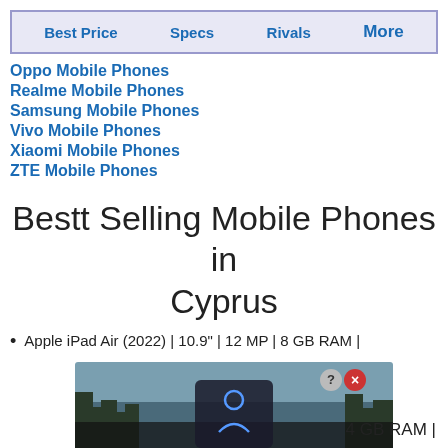Best Price | Specs | Rivals | More
Oppo Mobile Phones
Realme Mobile Phones
Samsung Mobile Phones
Vivo Mobile Phones
Xiaomi Mobile Phones
ZTE Mobile Phones
Bestt Selling Mobile Phones in Cyprus
Apple iPad Air (2022) | 10.9" | 12 MP | 8 GB RAM |
[Figure (screenshot): Advertisement overlay showing a winter forest scene with 'Hold and Move' text and question/close icons]
4 GB RAM |